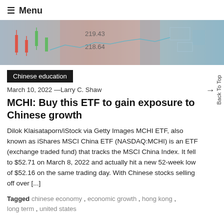≡ Menu
[Figure (photo): Financial stock market chart background with candlestick patterns, numbers 219.43 and 218.64 visible, abstract financial data visualization in red, green, and teal tones]
Chinese education
March 10, 2022 —Larry C. Shaw
MCHI: Buy this ETF to gain exposure to Chinese growth
Dilok Klaisataporn/iStock via Getty Images MCHI ETF, also known as iShares MSCI China ETF (NASDAQ:MCHI) is an ETF (exchange traded fund) that tracks the MSCI China Index. It fell to $52.71 on March 8, 2022 and actually hit a new 52-week low of $52.16 on the same trading day. With Chinese stocks selling off over [...]
Tagged chinese economy , economic growth , hong kong , long term , united states